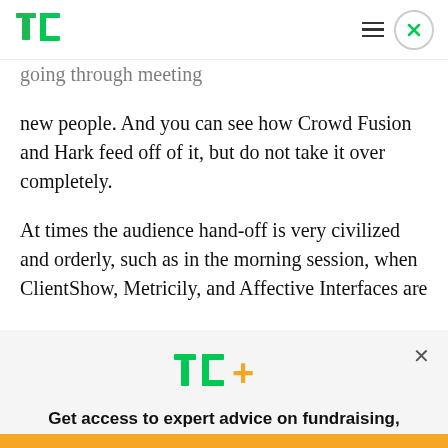TechCrunch logo, hamburger menu, close button
going through meeting new people. And you can see how Crowd Fusion and Hark feed off of it, but do not take it over completely.
At times the audience hand-off is very civilized and orderly, such as in the morning session, when ClientShow, Metricily, and Affective Interfaces are
[Figure (logo): TC+ logo modal overlay with tagline and explore button]
Get access to expert advice on fundraising, growth, and management for your startup.